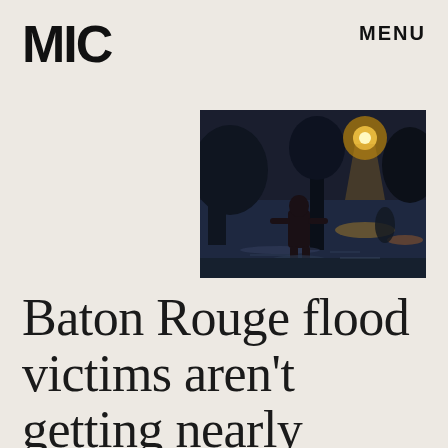MIC
MENU
[Figure (photo): A person wading through floodwaters at night, illuminated by street lights reflecting on the water surface, with trees and flooded surroundings visible.]
Baton Rouge flood victims aren't getting nearly enough relief money